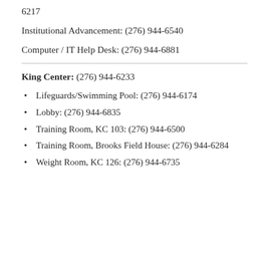6217
Institutional Advancement: (276) 944-6540
Computer / IT Help Desk: (276) 944-6881
King Center: (276) 944-6233
Lifeguards/Swimming Pool: (276) 944-6174
Lobby: (276) 944-6835
Training Room, KC 103: (276) 944-6500
Training Room, Brooks Field House: (276) 944-6284
Weight Room, KC 126: (276) 944-6735